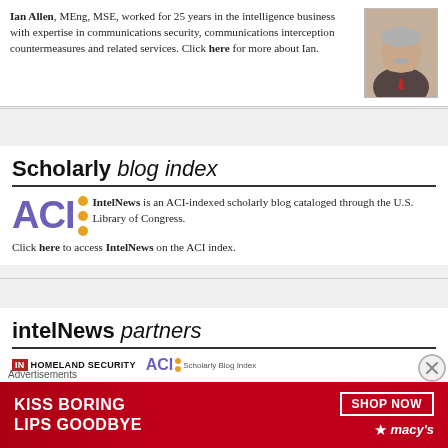Ian Allen, MEng, MSE, worked for 25 years in the intelligence business with expertise in communications security, communications interception countermeasures and related services. Click here for more about Ian.
[Figure (photo): Headshot photo of Ian Allen, a man with grey hair and moustache wearing a suit]
Scholarly blog index
IntelNews is an ACI-indexed scholarly blog cataloged through the U.S. Library of Congress. Click here to access IntelNews on the ACI index.
[Figure (logo): ACI logo with purple letters and orange dots]
intelNews partners
[Figure (logo): IN Homeland Security logo and ACI Scholarly Blog Index logo]
Advertisements
[Figure (photo): Macy's advertisement banner: KISS BORING LIPS GOODBYE - SHOP NOW - macy's]